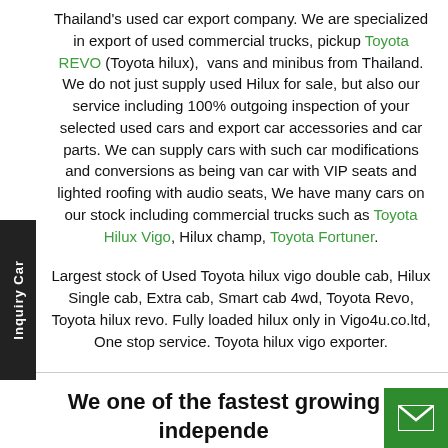Thailand's used car export company. We are specialized in export of used commercial trucks, pickup Toyota REVO (Toyota hilux), vans and minibus from Thailand. We do not just supply used Hilux for sale, but also our service including 100% outgoing inspection of your selected used cars and export car accessories and car parts. We can supply cars with such car modifications and conversions as being van car with VIP seats and lighted roofing with audio seats, We have many cars on our stock including commercial trucks such as Toyota Hilux Vigo, Hilux champ, Toyota Fortuner.
Largest stock of Used Toyota hilux vigo double cab, Hilux Single cab, Extra cab, Smart cab 4wd, Toyota Revo, Toyota hilux revo. Fully loaded hilux only in Vigo4u.co.ltd, One stop service. Toyota hilux vigo exporter.
We one of the fastest growing independent car sales businesses in the county. With over 10 year's experience, we are committed to providing you with the